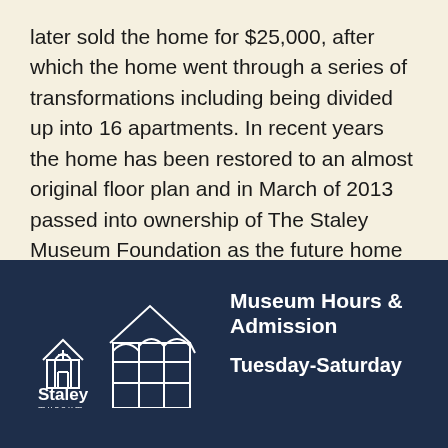later sold the home for $25,000, after which the home went through a series of transformations including being divided up into 16 apartments. In recent years the home has been restored to an almost original floor plan and in March of 2013 passed into ownership of The Staley Museum Foundation as the future home of The Staley Museum.
[Figure (logo): Staley Museum logo with two house/building outlines in white line art, with 'Staley museum' text below]
Museum Hours & Admission
Tuesday-Saturday